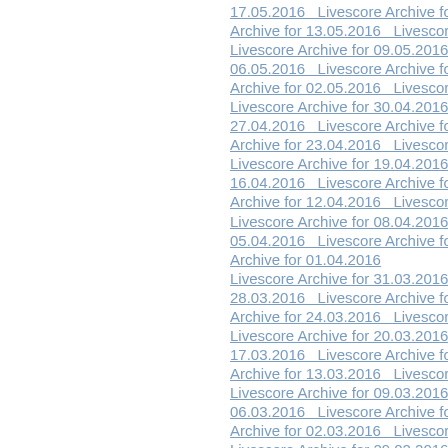17.05.2016   Livescore Archive for 16.05.2016   Livescore Archive for 13.05.2016   Livescore Archive for 09.05.2016   Livescore Archive for 06.05.2016   Livescore Archive for 05.05.2016   Livescore Archive for 02.05.2016   Livescore Archive for 30.04.2016   Livescore Archive for 27.04.2016   Livescore Archive for 26.04.2016   Livescore Archive for 23.04.2016   Livescore Archive for 19.04.2016   Livescore Archive for 16.04.2016   Livescore Archive for 15.04.2016   Livescore Archive for 12.04.2016   Livescore Archive for 08.04.2016   Livescore Archive for 05.04.2016   Livescore Archive for 04.04.2016   Livescore Archive for 01.04.2016   Livescore Archive for 31.03.2016   Livescore Archive for 28.03.2016   Livescore Archive for 27.03.2016   Livescore Archive for 24.03.2016   Livescore Archive for 20.03.2016   Livescore Archive for 17.03.2016   Livescore Archive for 16.03.2016   Livescore Archive for 13.03.2016   Livescore Archive for 09.03.2016   Livescore Archive for 06.03.2016   Livescore Archive for 05.03.2016   Livescore Archive for 02.03.2016   Livescore Archive for 29.02.2016   Livescore Archive for 26.02.2016   Livescore Archive for 25.02.2016   Livescore Archive for 22.02.2016